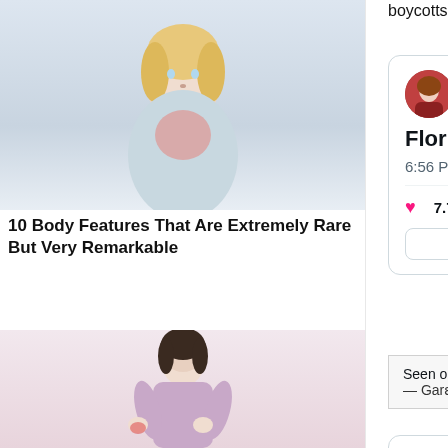boycotts the state:
[Figure (photo): Photo of a young blonde woman used as sidebar advertisement for article about body features]
10 Body Features That Are Extremely Rare But Very Remarkable
[Figure (screenshot): Tweet by Mollie @MZHemingway with blue verified checkmark. Text: Florida has become a sanctua... Time: 6:56 PM · Apr 30, 2021. Interactions: 7.7K likes, Reply, Copy link, Read 147]
Seen on Instagram pic.twitter.com/yBZK3lfdOJ — Garɛ Jɛman (@Gee2TheAitch) April 29, 2021
[Figure (photo): Photo of a woman in lavender top holding her hand, used as sidebar advertisement]
[Figure (screenshot): Tweet by I,Hypocrite @lporiginalg with Follow button]